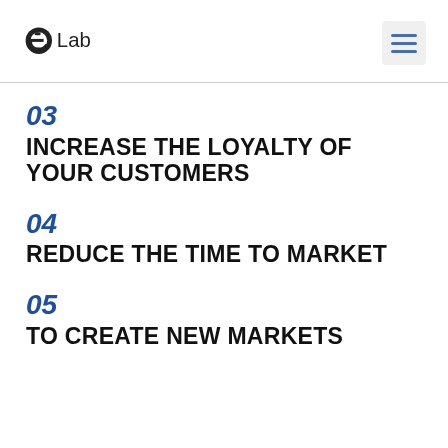[Figure (logo): eLab logo with stylized 'e' icon and 'Lab' text in dark color]
03
INCREASE THE LOYALTY OF YOUR CUSTOMERS
04
REDUCE THE TIME TO MARKET
05
TO CREATE NEW MARKETS